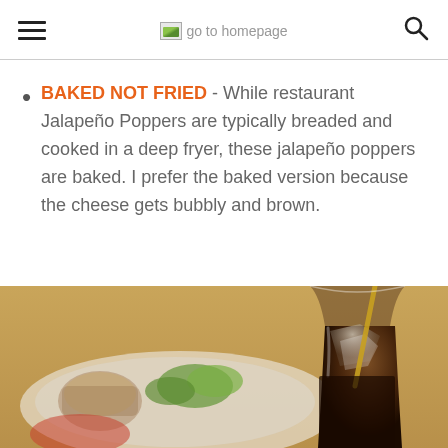go to homepage
BAKED NOT FRIED - While restaurant Jalapeño Poppers are typically breaded and cooked in a deep fryer, these jalapeño poppers are baked. I prefer the baked version because the cheese gets bubbly and brown.
[Figure (photo): Close-up photo of a drink with ice and a straw in a glass, with a blurred background showing a white dish with green garnish and what appears to be food items on a wooden surface.]